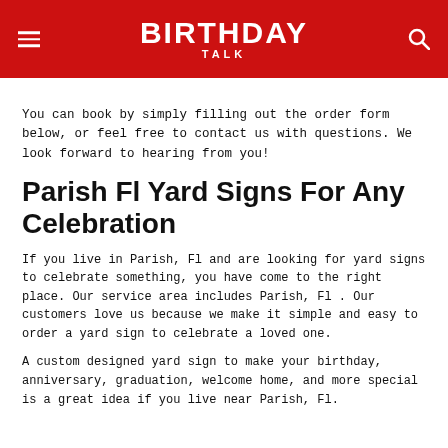BIRTHDAY TALK
You can book by simply filling out the order form below, or feel free to contact us with questions. We look forward to hearing from you!
Parish Fl Yard Signs For Any Celebration
If you live in Parish, Fl and are looking for yard signs to celebrate something, you have come to the right place. Our service area includes Parish, Fl . Our customers love us because we make it simple and easy to order a yard sign to celebrate a loved one.
A custom designed yard sign to make your birthday, anniversary, graduation, welcome home, and more special is a great idea if you live near Parish, Fl.